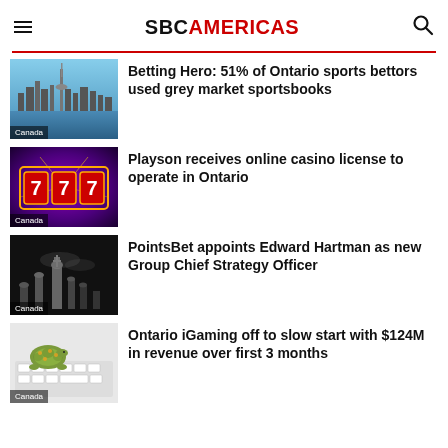SBC AMERICAS
Betting Hero: 51% of Ontario sports bettors used grey market sportsbooks
Playson receives online casino license to operate in Ontario
PointsBet appoints Edward Hartman as new Group Chief Strategy Officer
Ontario iGaming off to slow start with $124M in revenue over first 3 months